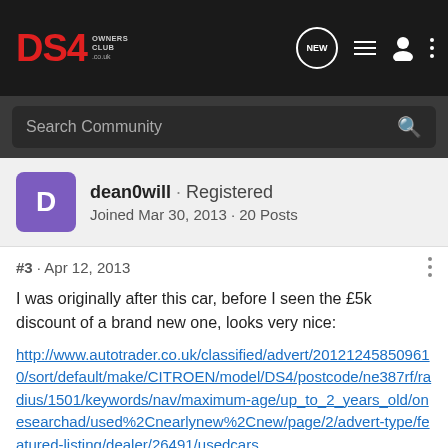DS4 Owners Club
Search Community
dean0will · Registered
Joined Mar 30, 2013 · 20 Posts
#3 · Apr 12, 2013
I was originally after this car, before I seen the £5k discount of a brand new one, looks very nice:
http://www.autotrader.co.uk/classified/advert/201212458509610/sort/default/make/CITROEN/model/DS4/postcode/ne387rf/radius/1501/keywords/nav/maximum-age/up_to_2_years_old/onesearchad/used%2Cnearlynew%2Cnew/page/2/advert-type/featured-listing/dealer/26491/usedcars